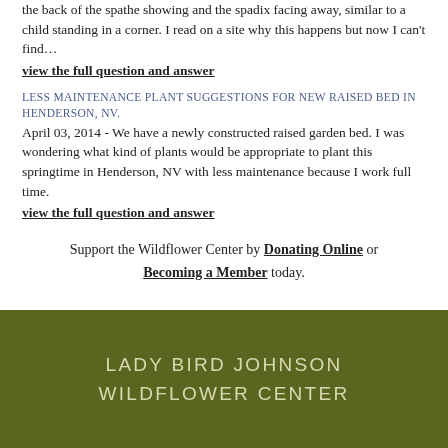the back of the spathe showing and the spadix facing away, similar to a child standing in a corner. I read on a site why this happens but now I can't find…
view the full question and answer
LESS MAINTENANCE PLANT SUGGESTIONS FOR NEW RAISED BED IN HENDERSON, NV.
April 03, 2014 - We have a newly constructed raised garden bed. I was wondering what kind of plants would be appropriate to plant this springtime in Henderson, NV with less maintenance because I work full time.
view the full question and answer
Support the Wildflower Center by Donating Online or Becoming a Member today.
LADY BIRD JOHNSON WILDFLOWER CENTER